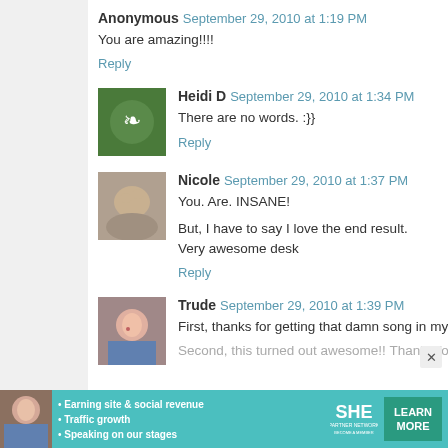Anonymous   September 29, 2010 at 1:19 PM
You are amazing!!!!
Reply
Heidi D   September 29, 2010 at 1:34 PM
There are no words. :}}
Reply
Nicole   September 29, 2010 at 1:37 PM
You. Are. INSANE!
But, I have to say I love the end result. Very awesome desk
Reply
Trude   September 29, 2010 at 1:39 PM
First, thanks for getting that damn song in my head.
Second, this turned out awesome!! Thanks for sharing
[Figure (infographic): SHE Partner Network advertisement banner with woman photo, bullet points about earning site social revenue, traffic growth, speaking on stages, SHE logo, and Learn More button]